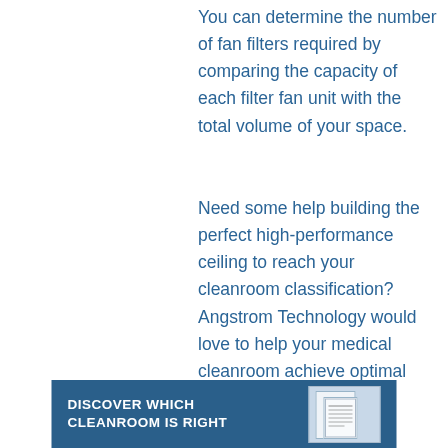You can determine the number of fan filters required by comparing the capacity of each filter fan unit with the total volume of your space.
Need some help building the perfect high-performance ceiling to reach your cleanroom classification? Angstrom Technology would love to help your medical cleanroom achieve optimal airflow, filtration, and pressurization for your application. Give us a call to get started!
[Figure (infographic): Dark blue banner at bottom with white bold text 'DISCOVER WHICH CLEANROOM IS RIGHT' and a document/brochure image placeholder on the right.]